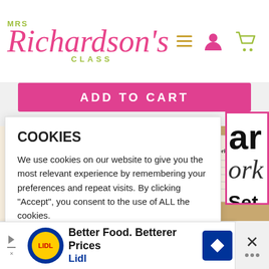MRS Richardson's CLASS
ADD TO CART
COOKIES
We use cookies on our website to give you the most relevant experience by remembering your preferences and repeat visits. By clicking “Accept”, you consent to the use of ALL the cookies.
Do not sell my personal information.
Cookie Settings
Accept
[Figure (screenshot): Partial view of a product with large text showing 'ar', 'ork', 'Set 2' with pink border - morning work educational product]
[Figure (illustration): Cartoon illustration of a girl character with brown hair and pink shirt]
[Figure (photo): Photo of Morning Work paper worksheets on a wooden desk]
Better Food. Betterer Prices
Lidl